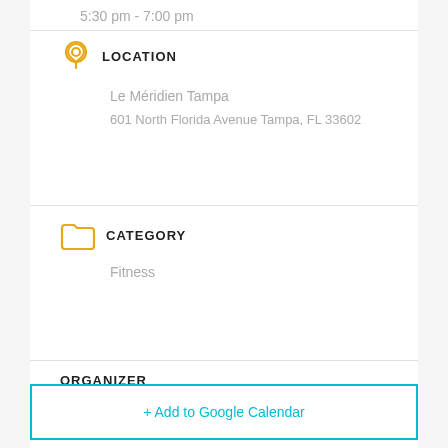5:30 pm - 7:00 pm
LOCATION
Le Méridien Tampa
601 North Florida Avenue Tampa, FL 33602
CATEGORY
Fitness
ORGANIZER
LE MÉRIDIEN TAMPA
+ Add to Google Calendar